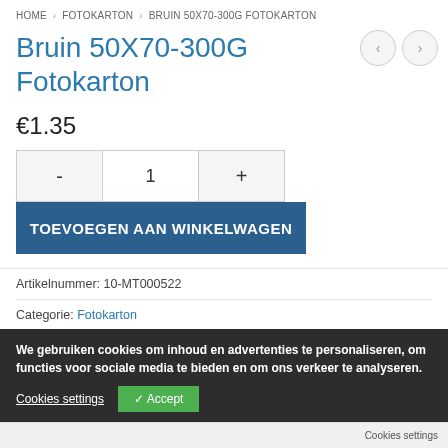HOME > FOTOKARTON > BRUIN 50X70-300G FOTOKARTON
Bruin 50X70-300G Fotokarton
€1.35
- 1 +
TOEVOEGEN AAN WINKELWAGEN
Artikelnummer: 10-MT000522
Categorie: Fotokarton
We gebruiken cookies om inhoud en advertenties te personaliseren, om functies voor sociale media te bieden en om ons verkeer te analyseren.
Gerelateerde producten